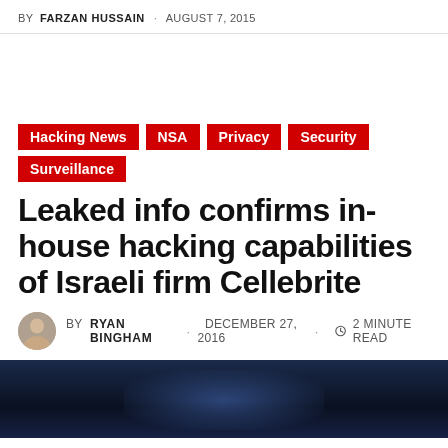BY FARZAN HUSSAIN · AUGUST 7, 2015
Hacking News
NSA
Privacy
Security
Surveillance
Leaked info confirms in-house hacking capabilities of Israeli firm Cellebrite
BY RYAN BINGHAM · DECEMBER 27, 2016 · 2 MINUTE READ
[Figure (photo): Dark blue background photo, partially visible, showing a dimly lit scene with a circular glow effect]